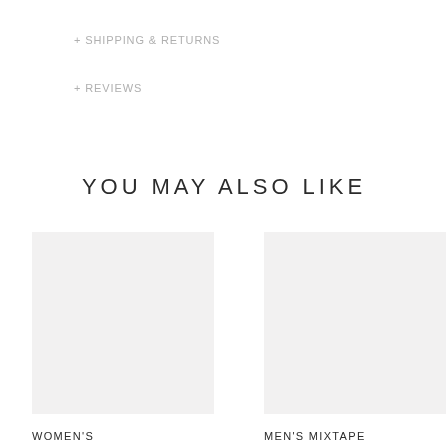+ SHIPPING & RETURNS
+ REVIEWS
YOU MAY ALSO LIKE
[Figure (photo): Product image placeholder for WOMEN'S category — light gray rectangle]
WOMEN'S
[Figure (photo): Product image placeholder for MEN'S MIXTAPE category — light gray rectangle]
MEN'S MIXTAPE